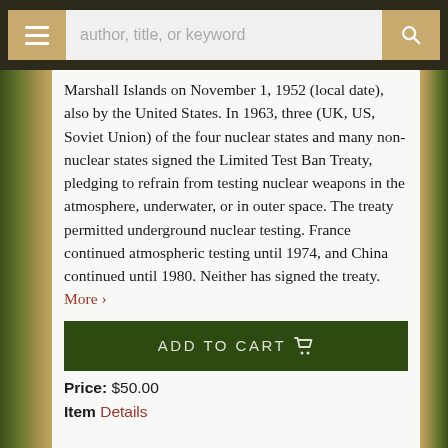author, title, or keyword
Marshall Islands on November 1, 1952 (local date), also by the United States. In 1963, three (UK, US, Soviet Union) of the four nuclear states and many non-nuclear states signed the Limited Test Ban Treaty, pledging to refrain from testing nuclear weapons in the atmosphere, underwater, or in outer space. The treaty permitted underground nuclear testing. France continued atmospheric testing until 1974, and China continued until 1980. Neither has signed the treaty. More ›
ADD TO CART
Price: $50.00
Item Details